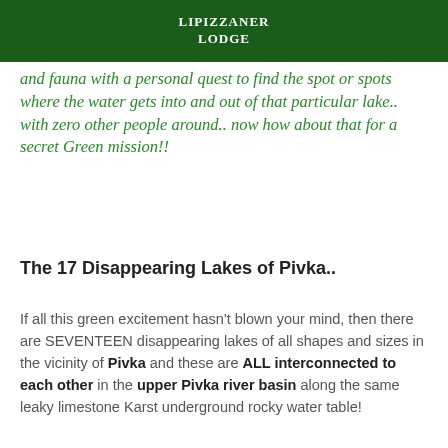LIPIZZANER LODGE
and fauna with a personal quest to find the spot or spots where the water gets into and out of that particular lake.. with zero other people around.. now how about that for a secret Green mission!!
The 17 Disappearing Lakes of Pivka..
If all this green excitement hasn't blown your mind, then there are SEVENTEEN disappearing lakes of all shapes and sizes in the vicinity of Pivka and these are ALL interconnected to each other in the upper Pivka river basin along the same leaky limestone Karst underground rocky water table!